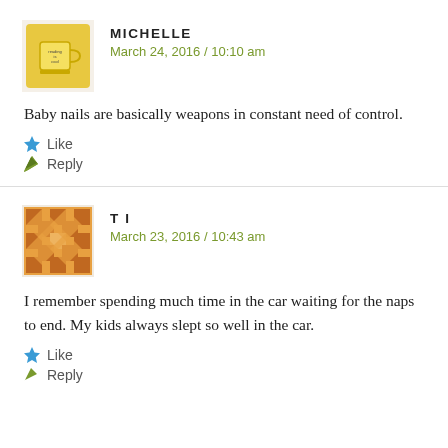[Figure (photo): Yellow mug avatar for user Michelle]
MICHELLE
March 24, 2016 / 10:10 am
Baby nails are basically weapons in constant need of control.
Like
Reply
[Figure (illustration): Orange geometric pattern avatar for user TI]
T I
March 23, 2016 / 10:43 am
I remember spending much time in the car waiting for the naps to end. My kids always slept so well in the car.
Like
Reply